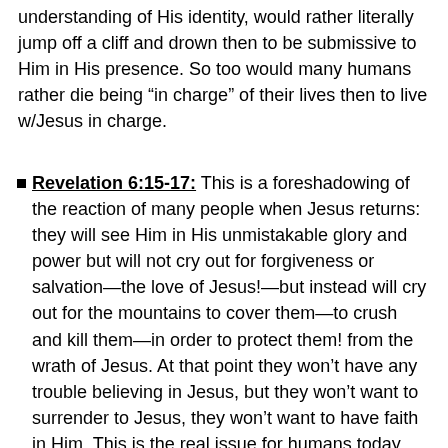understanding of His identity, would rather literally jump off a cliff and drown then to be submissive to Him in His presence. So too would many humans rather die being “in charge” of their lives then to live w/Jesus in charge.
Revelation 6:15-17: This is a foreshadowing of the reaction of many people when Jesus returns: they will see Him in His unmistakable glory and power but will not cry out for forgiveness or salvation—the love of Jesus!—but instead will cry out for the mountains to cover them—to crush and kill them—in order to protect them! from the wrath of Jesus. At that point they won’t have any trouble believing in Jesus, but they won’t want to surrender to Jesus, they won’t want to have faith in Him. This is the real issue for humans today.